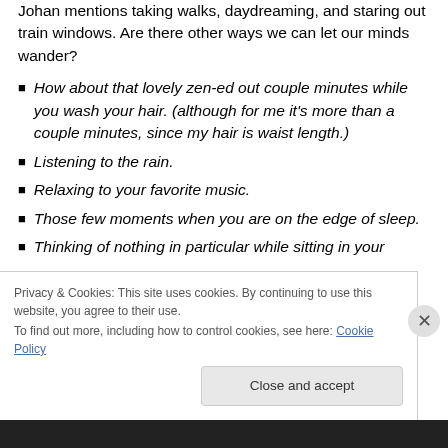Johan mentions taking walks, daydreaming, and staring out train windows. Are there other ways we can let our minds wander?
How about that lovely zen-ed out couple minutes while you wash your hair. (although for me it's more than a couple minutes, since my hair is waist length.)
Listening to the rain.
Relaxing to your favorite music.
Those few moments when you are on the edge of sleep.
Thinking of nothing in particular while sitting in your
Privacy & Cookies: This site uses cookies. By continuing to use this website, you agree to their use.
To find out more, including how to control cookies, see here: Cookie Policy
Close and accept